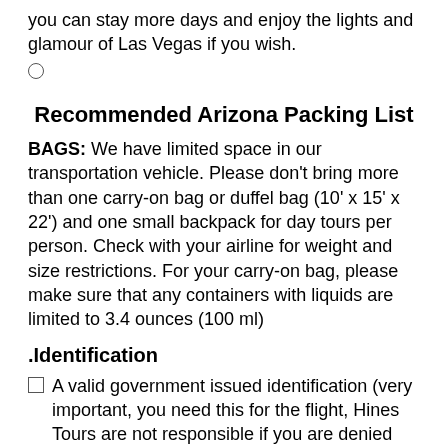you can stay more days and enjoy the lights and glamour of Las Vegas if you wish.
(radio button)
Recommended Arizona Packing List
BAGS: We have limited space in our transportation vehicle. Please don't bring more than one carry-on bag or duffel bag (10' x 15' x 22') and one small backpack for day tours per person. Check with your airline for weight and size restrictions. For your carry-on bag, please make sure that any containers with liquids are limited to 3.4 ounces (100 ml)
.Identification
A valid government issued identification (very important, you need this for the flight, Hines Tours are not responsible if you are denied boarding due to an invalid identification,